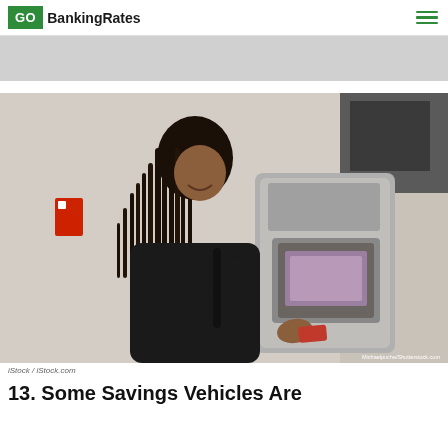GO BankingRates
[Figure (photo): Gray advertisement banner placeholder]
[Figure (photo): Woman with braided hair smiling while using an ATM machine outdoors, wearing a dark coat]
iStock / iStock.com
13. Some Savings Vehicles Are